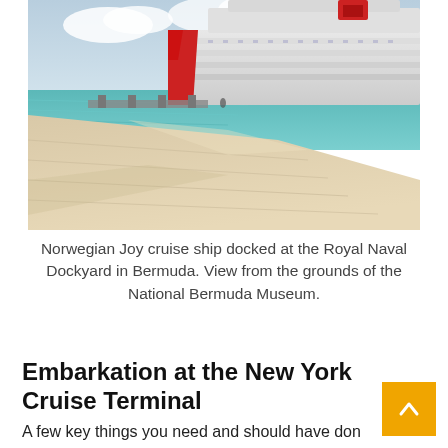[Figure (photo): Norwegian Joy cruise ship docked at the Royal Naval Dockyard in Bermuda, viewed from the grounds of the National Bermuda Museum. A sandy limestone wall is in the foreground, with turquoise water and the large white cruise ship with red accents in the background under a partly cloudy sky.]
Norwegian Joy cruise ship docked at the Royal Naval Dockyard in Bermuda. View from the grounds of the National Bermuda Museum.
Embarkation at the New York Cruise Terminal
A few key things you need and should have done before embarkation day for this Norwegian Joy